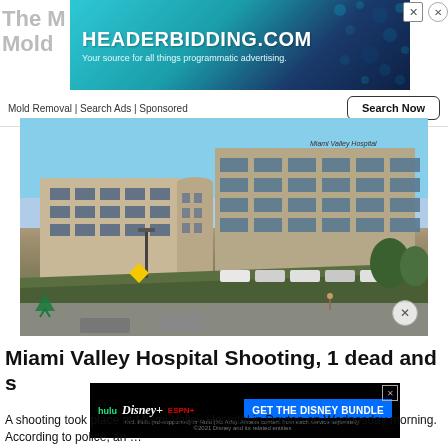[Figure (screenshot): HEADERBIDDING.COM advertisement banner with teal/dark blue gradient background and decorative dots]
Mold Removal | Search Ads | Sponsored
[Figure (photo): Exterior photograph of Miami Valley Hospital building in Dayton, a large multi-story tan/beige concrete structure with glass windows, green lawn, parked vehicles, and blue sky]
Miami Valley Hospital Shooting, 1 dead and s…
[Figure (screenshot): Disney Bundle advertisement showing Hulu, Disney+, ESPN+ logos with GET THE DISNEY BUNDLE call to action on black background]
A shooting took place at Miami Valley Hospital in Dayton on Wednesday morning. According to police, an …